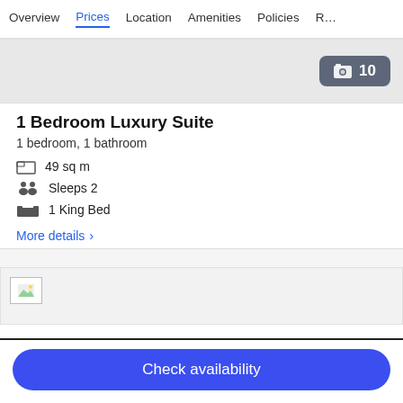Overview | Prices | Location | Amenities | Policies | R...
[Figure (photo): Hotel room photo area with image count badge showing 10]
1 Bedroom Luxury Suite
1 bedroom, 1 bathroom
49 sq m
Sleeps 2
1 King Bed
More details ›
[Figure (photo): Second room photo thumbnail area]
Check availability